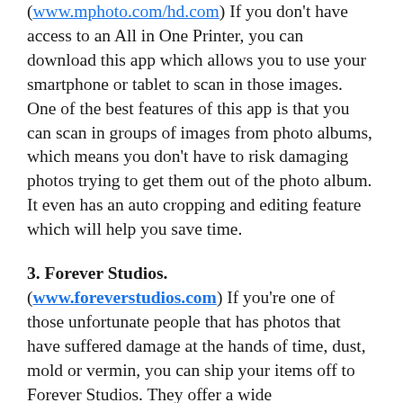(www.mphoto.com/hd.com) If you don't have access to an All in One Printer, you can download this app which allows you to use your smartphone or tablet to scan in those images.  One of the best features of this app is that you can scan in groups of images from photo albums, which means you don't have to risk damaging photos trying to get them out of the photo album. It even has an auto cropping and editing feature which will help you save time.
3. Forever Studios.
(www.foreverstudios.com) If you're one of those unfortunate people that has photos that have suffered damage at the hands of time, dust, mold or vermin, you can ship your items off to Forever Studios. They offer a wide